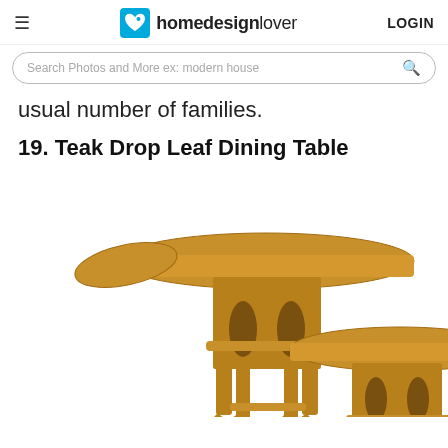homedesignlover  LOGIN
Search Photos and More ex: modern house
usual number of families.
19. Teak Drop Leaf Dining Table
[Figure (photo): Two teak drop leaf dining tables with mid-century modern design, featuring arched base supports and horizontal cross-bars. The tables have folded drop leaves and oval tabletops. Warm honey-toned wood finish.]